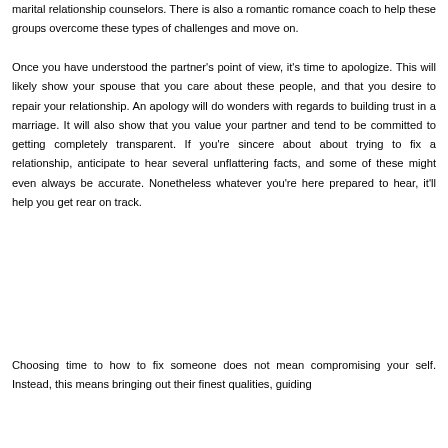marital relationship counselors. There is also a romantic romance coach to help these groups overcome these types of challenges and move on.
Once you have understood the partner's point of view, it's time to apologize. This will likely show your spouse that you care about these people, and that you desire to repair your relationship. An apology will do wonders with regards to building trust in a marriage. It will also show that you value your partner and tend to be committed to getting completely transparent. If you're sincere about about trying to fix a relationship, anticipate to hear several unflattering facts, and some of these might even always be accurate. Nonetheless whatever you're here prepared to hear, it'll help you get rear on track.
Choosing time to how to fix someone does not mean compromising your self. Instead, this means bringing out their finest qualities, guiding